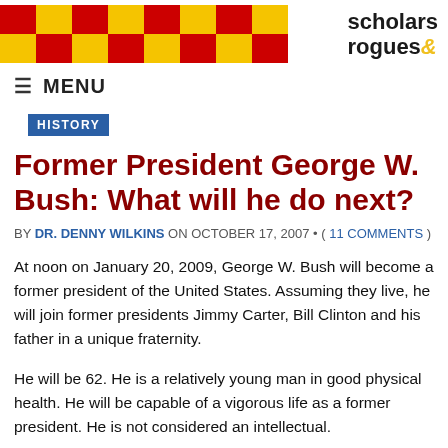[Figure (logo): Scholars & Rogues website header with red and yellow checkerboard pattern logo on left and 'scholars & rogues' text logo on right]
≡  MENU
HISTORY
Former President George W. Bush: What will he do next?
BY DR. DENNY WILKINS ON OCTOBER 17, 2007 • ( 11 COMMENTS )
At noon on January 20, 2009, George W. Bush will become a former president of the United States. Assuming they live, he will join former presidents Jimmy Carter, Bill Clinton and his father in a unique fraternity.
He will be 62. He is a relatively young man in good physical health. He will be capable of a vigorous life as a former president. He is not considered an intellectual.